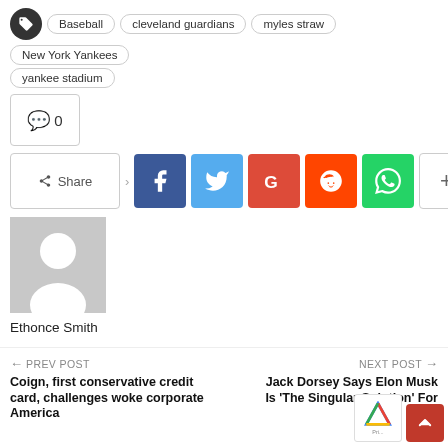Baseball
cleveland guardians
myles straw
New York Yankees
yankee stadium
💬 0
Share
[Figure (other): Author avatar placeholder (grey silhouette)]
Ethonce Smith
← PREV POST
Coign, first conservative credit card, challenges woke corporate America
NEXT POST →
Jack Dorsey Says Elon Musk Is 'The Singular Solution' For T…